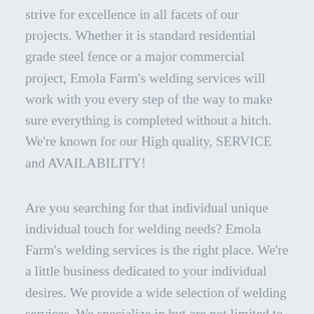strive for excellence in all facets of our projects. Whether it is standard residential grade steel fence or a major commercial project, Emola Farm's welding services will work with you every step of the way to make sure everything is completed without a hitch. We're known for our High quality, SERVICE and AVAILABILITY!
Are you searching for that individual unique individual touch for welding needs? Emola Farm's welding services is the right place. We're a little business dedicated to your individual desires. We provide a wide selection of welding services. We specialize in but are not limited to custom ornamental iron gates, handrail, fencing, and equine stalls. We can design or build to your specs. Our utmost desire would be to function with you so your vision becomes reality.